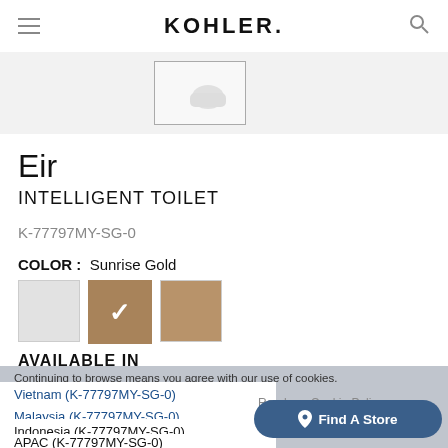KOHLER.
[Figure (photo): Partial product image of a white toilet in a bordered box]
Eir
INTELLIGENT TOILET
K-77797MY-SG-0
COLOR : Sunrise Gold
[Figure (other): Three color swatches: white/grey, selected Sunrise Gold (with checkmark), medium gold]
AVAILABLE IN
Vietnam (K-77797MY-SG-0)
Malaysia (K-77797MY-SG-0)
Indonesia (K-77797MY-SG-0)
APAC (K-77797MY-SG-0)
Hong Kong (K-77797MY-SG-0)
Read our Cookie Policy
Find A Store